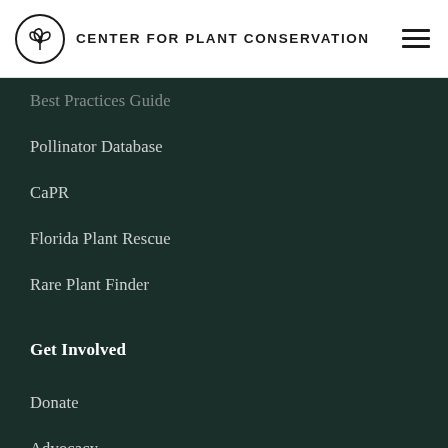CENTER FOR PLANT CONSERVATION
Best Practices Guide
Pollinator Database
CaPR
Florida Plant Rescue
Rare Plant Finder
Get Involved
Donate
Advocacy
Become a Partner
Get Newsletters
Register